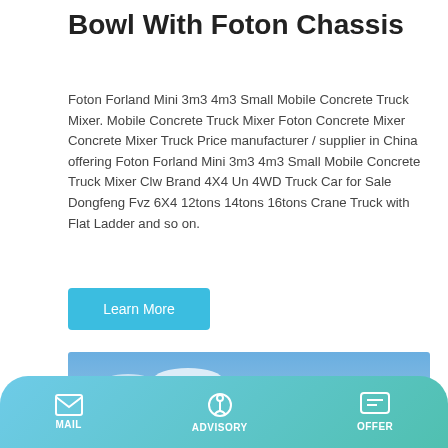Bowl With Foton Chassis
Foton Forland Mini 3m3 4m3 Small Mobile Concrete Truck Mixer. Mobile Concrete Truck Mixer Foton Concrete Mixer Concrete Mixer Truck Price manufacturer / supplier in China offering Foton Forland Mini 3m3 4m3 Small Mobile Concrete Truck Mixer Clw Brand 4X4 Un 4WD Truck Car for Sale Dongfeng Fvz 6X4 12tons 14tons 16tons Crane Truck with Flat Ladder and so on.
Learn More
[Figure (photo): A green Talenet concrete mixer truck photographed outdoors against a blue sky with hills in background. The white cylindrical drum bears the TALENET logo in green letters.]
MAIL   ADVISORY   OFFER